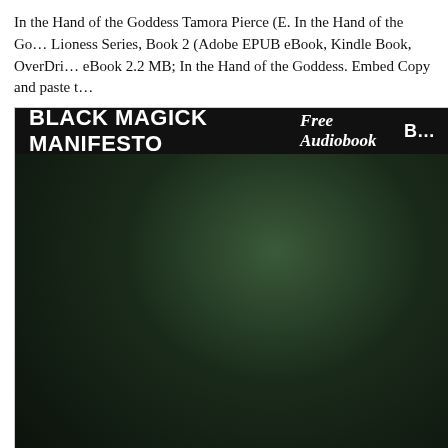In the Hand of the Goddess Tamora Pierce (E. In the Hand of the Go… Lioness Series, Book 2 (Adobe EPUB eBook, Kindle Book, OverDri… eBook 2.2 MB; In the Hand of the Goddess. Embed Copy and paste t…
[Figure (photo): A muscular tattooed man in a black tank top reading a book titled 'BLACK MAGICK MANIFESTO' surrounded by candles on candlesticks, in a dark atmospheric setting. A banner at the top reads 'BLACK MAGICK MANIFESTO  Free Audiobook  B…']